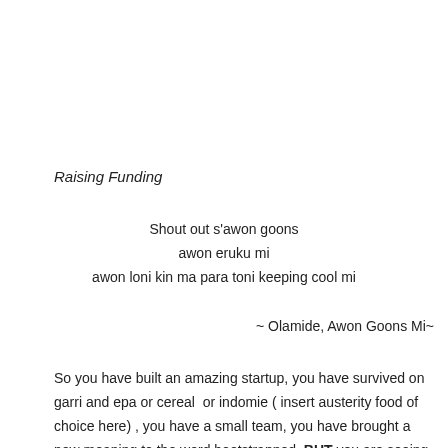Raising Funding
Shout out s'awon goons
awon eruku mi
awon loni kin ma para toni keeping cool mi
~ Olamide, Awon Goons Mi~
So you have built an amazing startup, you have survived on garri and epa or cereal  or indomie ( insert austerity food of choice here) , you have a small team, you have brought a new meaning to the word bootstrapped, BUT you are seeing growth, you are earning revenues,